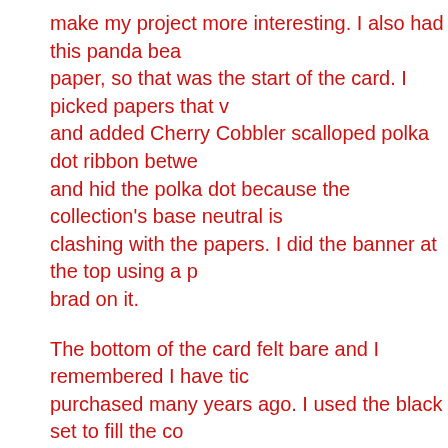make my project more interesting. I also had this panda bea paper, so that was the start of the card. I picked papers that v and added Cherry Cobbler scalloped polka dot ribbon betwe and hid the polka dot because the collection's base neutral is clashing with the papers. I did the banner at the top using a p brad on it.
The bottom of the card felt bare and I remembered I have tic purchased many years ago. I used the black set to fill the co clear view film I had in the same embellishment box. This all have it grounded on the design. I was really excited when the remind me of my precious sticker collection from back when stickers packs include very small images, and I've found it ha making the scale work. The film strip made for a nice workar brads from Doodlebug in the same ornament box and added finish off the card, I added black doodling to the aqua heart a the polka dot heart, plus a couple of enamel dots. I deliberate card or not, but I felt I would have more uses for this card if I I could always add one to it later depending on the kind of ca
As for the tag, inspiration came from spotting a cute tag set is a little different, but definitely very highly inspired by the or the bottom and dotted hearts embossing on the back tag. Th might get turned into a card or added to packaging at some p